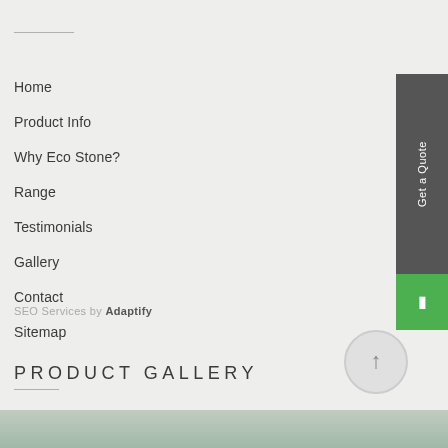Home
Product Info
Why Eco Stone?
Range
Testimonials
Gallery
Contact
Sitemap
Get a Quote
SEO Services by Adaptify
[Figure (other): Scroll to top circular button with upward arrow]
PRODUCT GALLERY
[Figure (photo): Partial view of product gallery images at bottom of page]